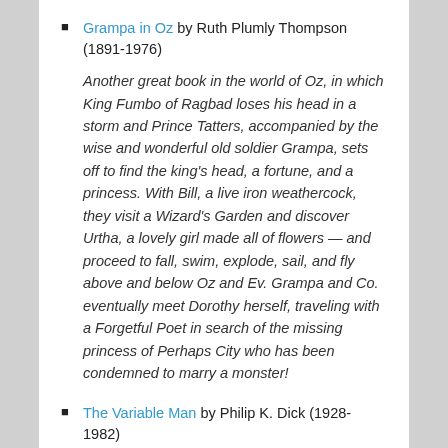Grampa in Oz by Ruth Plumly Thompson (1891-1976)
Another great book in the world of Oz, in which King Fumbo of Ragbad loses his head in a storm and Prince Tatters, accompanied by the wise and wonderful old soldier Grampa, sets off to find the king's head, a fortune, and a princess. With Bill, a live iron weathercock, they visit a Wizard's Garden and discover Urtha, a lovely girl made all of flowers — and proceed to fall, swim, explode, sail, and fly above and below Oz and Ev. Grampa and Co. eventually meet Dorothy herself, traveling with a Forgetful Poet in search of the missing princess of Perhaps City who has been condemned to marry a monster!
The Variable Man by Philip K. Dick (1928-1982)